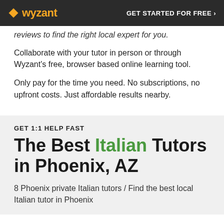wyzant | GET STARTED FOR FREE ›
reviews to find the right local expert for you.
Collaborate with your tutor in person or through Wyzant's free, browser based online learning tool.
Only pay for the time you need. No subscriptions, no upfront costs. Just affordable results nearby.
GET 1:1 HELP FAST
The Best Italian Tutors in Phoenix, AZ
8 Phoenix private Italian tutors / Find the best local Italian tutor in Phoenix